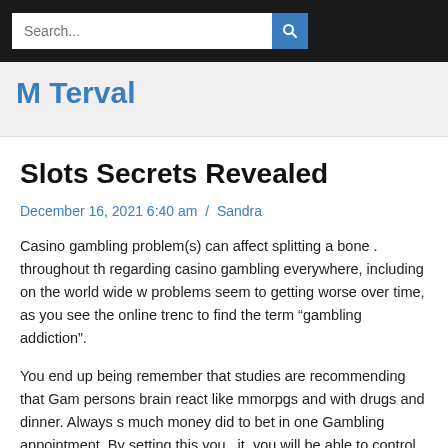Search...
M Terval
Slots Secrets Revealed
December 16, 2021 6:40 am  /  Sandra
Casino gambling problem(s) can affect splitting a bone . throughout th regarding casino gambling everywhere, including on the world wide w problems seem to getting worse over time, as you see the online trenc to find the term “gambling addiction”.
You end up being remember that studies are recommending that Gam persons brain react like mmorpgs and with drugs and dinner. Always s much money did to bet in one Gambling appointment. By setting this you . it, you will be able to control the urge of betting more but more n eventually result in losing it.